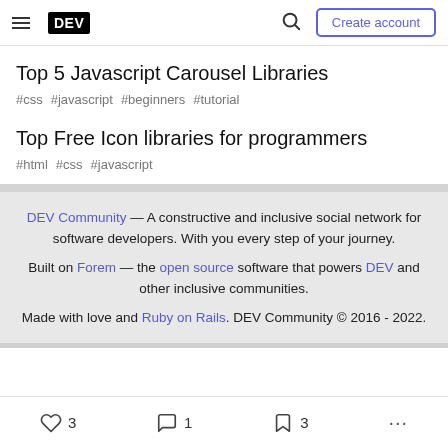DEV — hamburger menu, search, Create account
Top 5 Javascript Carousel Libraries
#css #javascript #beginners #tutorial
Top Free Icon libraries for programmers
#html #css #javascript
DEV Community — A constructive and inclusive social network for software developers. With you every step of your journey. Built on Forem — the open source software that powers DEV and other inclusive communities. Made with love and Ruby on Rails. DEV Community © 2016 - 2022.
3 reactions, 1 comment, 3 bookmarks, more options